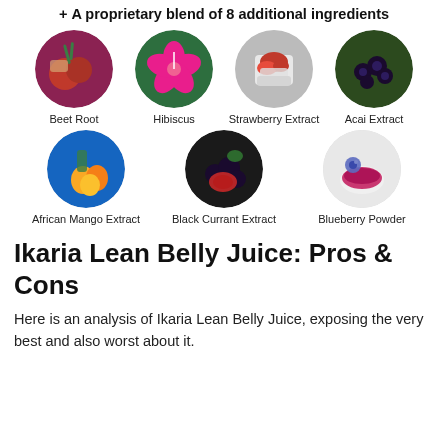+ A proprietary blend of 8 additional ingredients
[Figure (photo): Grid of circular food/ingredient photos: Beet Root, Hibiscus, Strawberry Extract, Acai Extract (top row); African Mango Extract, Black Currant Extract, Blueberry Powder (bottom row)]
Ikaria Lean Belly Juice: Pros & Cons
Here is an analysis of Ikaria Lean Belly Juice, exposing the very best and also worst about it.